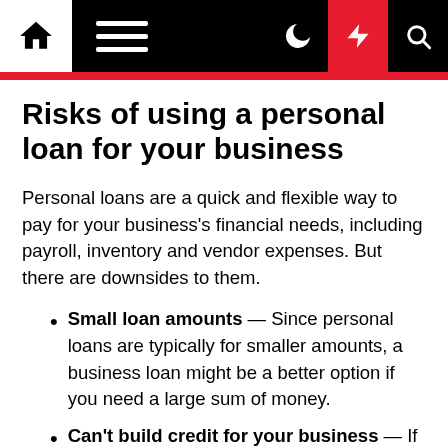Navigation bar with home, menu, moon, bolt, and search icons
Risks of using a personal loan for your business
Personal loans are a quick and flexible way to pay for your business's financial needs, including payroll, inventory and vendor expenses. But there are downsides to them.
Small loan amounts — Since personal loans are typically for smaller amounts, a business loan might be a better option if you need a large sum of money.
Can't build credit for your business — If you want to get business loans in the future, a personal loan in your name won't help you build up your business